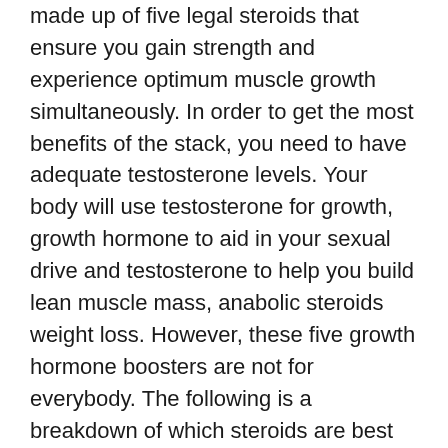made up of five legal steroids that ensure you gain strength and experience optimum muscle growth simultaneously. In order to get the most benefits of the stack, you need to have adequate testosterone levels. Your body will use testosterone for growth, growth hormone to aid in your sexual drive and testosterone to help you build lean muscle mass, anabolic steroids weight loss. However, these five growth hormone boosters are not for everybody. The following is a breakdown of which steroids are best for which body composition area, anabolic steroids legal spain.
How is the Crazy Bulk stack different?
The Crazy Bulk stack is 100% vegan, no GMOs, no gluten, no processed foods and no steroids, anabolic steroids